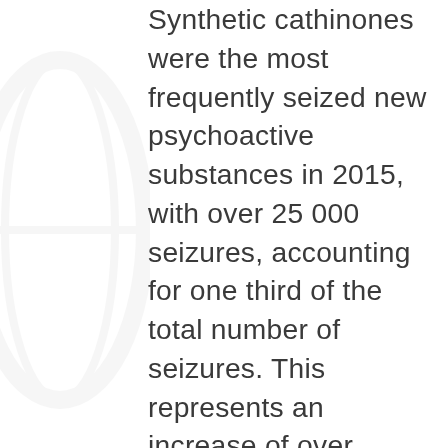Synthetic cathinones were the most frequently seized new psychoactive substances in 2015, with over 25 000 seizures, accounting for one third of the total number of seizures. This represents an increase of over 17 000 seizures on the previous year. These seizures amounted to just over 1.8 tonnes, an increase of approximately 0.75 tonne compared with 2014. Synthetic cathinones are generally found in powder form. The five most commonly seized cathinones in 2015 were alpha- PVP, 3-MMC, ethylone, 4-CMC and pentedrone. Where reported, more than 60 %